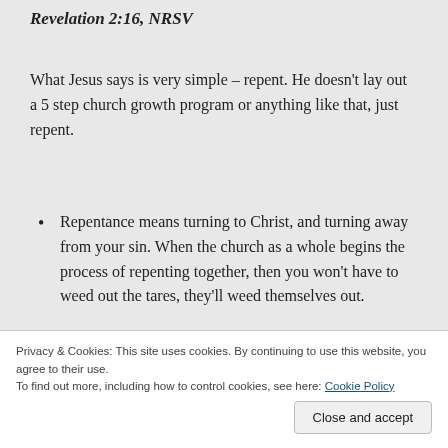Revelation 2:16, NRSV
What Jesus says is very simple – repent. He doesn't lay out a 5 step church growth program or anything like that, just repent.
Repentance means turning to Christ, and turning away from your sin. When the church as a whole begins the process of repenting together, then you won't have to weed out the tares, they'll weed themselves out.
Privacy & Cookies: This site uses cookies. By continuing to use this website, you agree to their use.
To find out more, including how to control cookies, see here: Cookie Policy
Close and accept